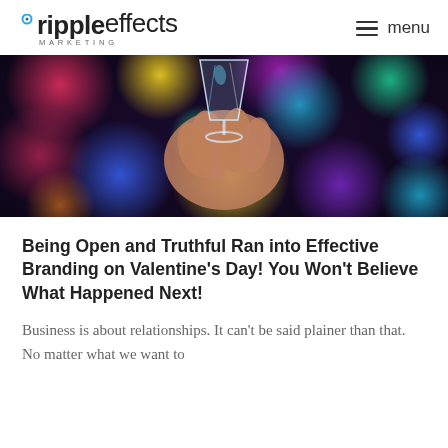rippleeffects MARKETING  menu
[Figure (photo): A hand holding a crystal glass against a colorful bokeh background with red, blue, yellow, green, and purple lights.]
Being Open and Truthful Ran into Effective Branding on Valentine’s Day! You Won’t Believe What Happened Next!
Business is about relationships. It can’t be said plainer than that. No matter what we want to